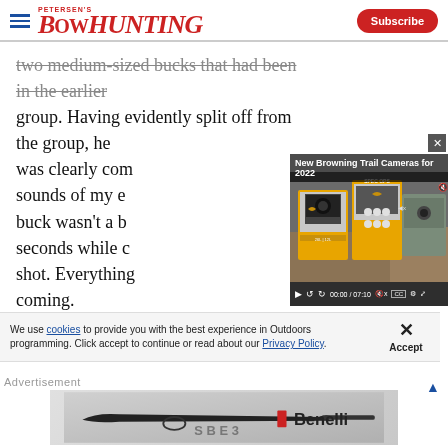Petersen's Bowhunting — Subscribe
two medium-sized bucks that had been in the earlier group. Having evidently split off from the group, he was clearly com... sounds of my e... buck wasn't a b... seconds while c... shot. Everything... coming.
[Figure (screenshot): Video popup overlay showing 'New Browning Trail Cameras for 2022' with video thumbnail of trail camera products in yellow packaging. Video controls show 00:00 / 07:10.]
We use cookies to provide you with the best experience in Outdoors programming. Click accept to continue or read about our Privacy Policy.
Advertisement
[Figure (photo): Benelli SBE3 shotgun advertisement banner showing a black semi-automatic shotgun with the SBE3 logo and Benelli brand logo.]